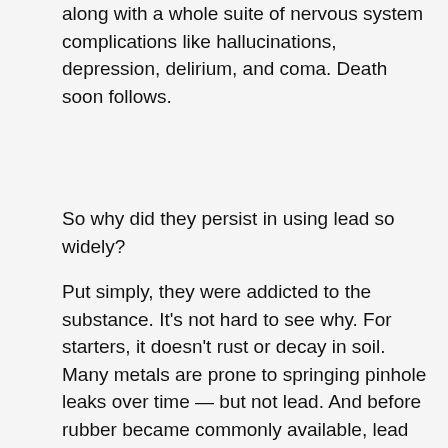along with a whole suite of nervous system complications like hallucinations, depression, delirium, and coma. Death soon follows.
So why did they persist in using lead so widely?
Put simply, they were addicted to the substance. It's not hard to see why. For starters, it doesn't rust or decay in soil. Many metals are prone to springing pinhole leaks over time — but not lead. And before rubber became commonly available, lead was often the best way to seal joints in plumbing. So rather than stop using it, the Romans chose denial, downplaying the risks associated with the metal and carrying on like they always had. So did those of us far from the Mediterranean, and actually, we never really managed to kick the habit.
The Middle Ages saw lead become even more...